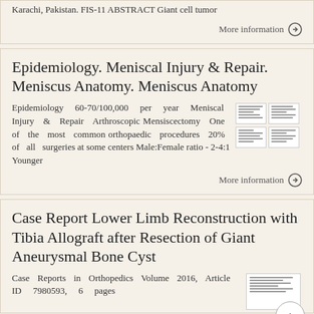Karachi, Pakistan. FIS-11 ABSTRACT Giant cell tumor
More information →
Epidemiology. Meniscal Injury & Repair. Meniscus Anatomy. Meniscus Anatomy
Epidemiology 60-70/100,000 per year Meniscal Injury & Repair Arthroscopic Mensiscectomy One of the most common orthopaedic procedures 20% of all surgeries at some centers Male:Female ratio - 2-4:1 Younger
More information →
Case Report Lower Limb Reconstruction with Tibia Allograft after Resection of Giant Aneurysmal Bone Cyst
Case Reports in Orthopedics Volume 2016, Article ID 7980593, 6 pages